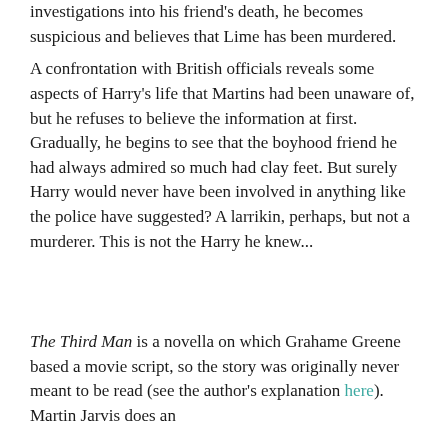investigations into his friend's death, he becomes suspicious and believes that Lime has been murdered. A confrontation with British officials reveals some aspects of Harry's life that Martins had been unaware of, but he refuses to believe the information at first. Gradually, he begins to see that the boyhood friend he had always admired so much had clay feet. But surely Harry would never have been involved in anything like the police have suggested? A larrikin, perhaps, but not a murderer. This is not the Harry he knew...
The Third Man is a novella on which Grahame Greene based a movie script, so the story was originally never meant to be read (see the author's explanation here). Martin Jarvis does an